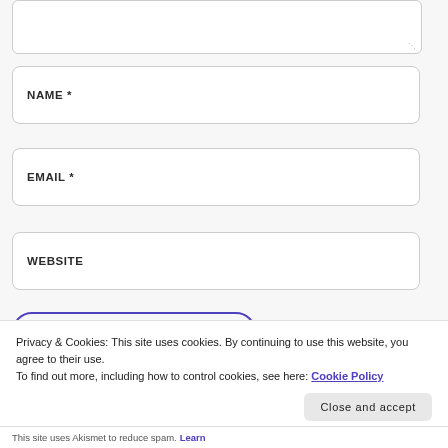[Figure (screenshot): Textarea input field (partially visible at top)]
NAME *
EMAIL *
WEBSITE
[Figure (screenshot): Submit button with purple outline border, pill shape, partially visible]
Privacy & Cookies: This site uses cookies. By continuing to use this website, you agree to their use.
To find out more, including how to control cookies, see here: Cookie Policy
Close and accept
This site uses Akismet to reduce spam. Learn